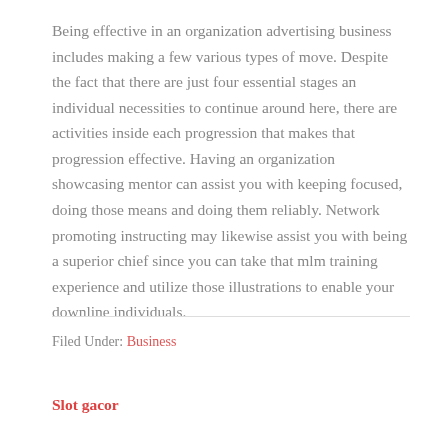Being effective in an organization advertising business includes making a few various types of move. Despite the fact that there are just four essential stages an individual necessities to continue around here, there are activities inside each progression that makes that progression effective. Having an organization showcasing mentor can assist you with keeping focused, doing those means and doing them reliably. Network promoting instructing may likewise assist you with being a superior chief since you can take that mlm training experience and utilize those illustrations to enable your downline individuals.
Filed Under: Business
Slot gacor